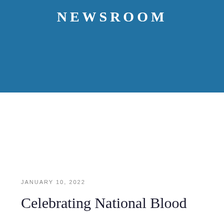NEWSROOM
JANUARY 10, 2022
Celebrating National Blood